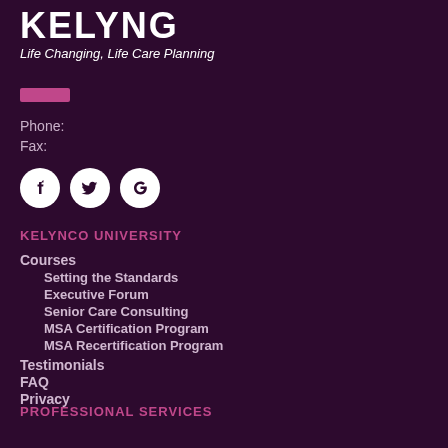[Figure (logo): KELYNCO logo with tagline 'Life Changing, Life Care Planning']
Phone:
Fax:
[Figure (illustration): Three social media icons: Facebook, Twitter, Google+]
KELYNCO UNIVERSITY
Courses
Setting the Standards
Executive Forum
Senior Care Consulting
MSA Certification Program
MSA Recertification Program
Testimonials
FAQ
Privacy
PROFESSIONAL SERVICES